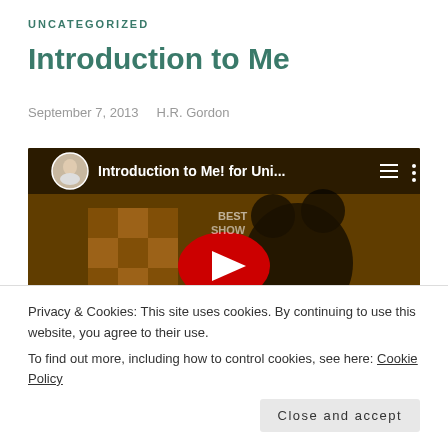UNCATEGORIZED
Introduction to Me
September 7, 2013   H.R. Gordon
[Figure (screenshot): Embedded YouTube video player showing 'Introduction to Me! for Uni...' with a thumbnail of a Mickey Mouse character in an orange-toned scene. A red play button is centered on the video. A circular profile photo of a woman is shown in the top-left of the player.]
Privacy & Cookies: This site uses cookies. By continuing to use this website, you agree to their use.
To find out more, including how to control cookies, see here: Cookie Policy
Close and accept